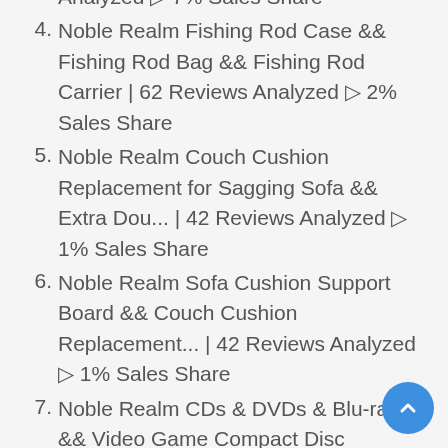Analyzed ▷ 7% Sales Share
4. Noble Realm Fishing Rod Case && Fishing Rod Bag && Fishing Rod Carrier | 62 Reviews Analyzed ▷ 2% Sales Share
5. Noble Realm Couch Cushion Replacement for Sagging Sofa && Extra Dou... | 42 Reviews Analyzed ▷ 1% Sales Share
6. Noble Realm Sofa Cushion Support Board && Couch Cushion Replacement... | 42 Reviews Analyzed ▷ 1% Sales Share
7. Noble Realm CDs & DVDs & Blu-ray && Video Game Compact Disc Storage... | 27 Reviews Analyzed ▷ 1% Sales Share
8. Noble Realm Pot and Pan Scratch Protectors for stacking, Set of 12 ... | 16 Reviews